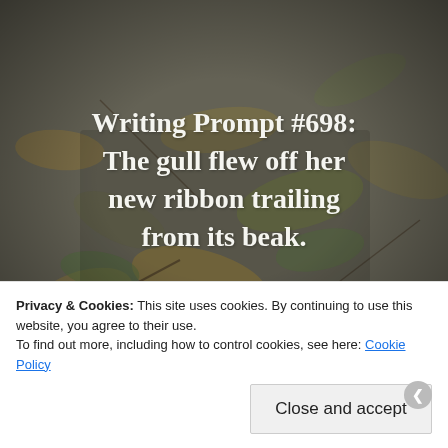[Figure (photo): A photo of autumn leaf litter on the ground with a semi-transparent dark overlay. Centered white serif text reads: Writing Prompt #698: The gull flew off her new ribbon trailing from its beak.]
Privacy & Cookies: This site uses cookies. By continuing to use this website, you agree to their use.
To find out more, including how to control cookies, see here: Cookie Policy
Close and accept